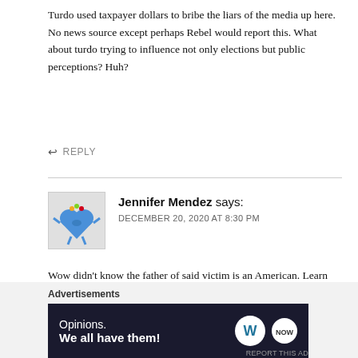Turdo used taxpayer dollars to bribe the liars of the media up here. No news source except perhaps Rebel would report this. What about turdo trying to influence not only elections but public perceptions? Huh?
↩ REPLY
Jennifer Mendez says:
DECEMBER 20, 2020 AT 8:30 PM
Wow didn't know the father of said victim is an American. Learn something new every day from INSANE LIBERALS
Advertisements
[Figure (other): Advertisement banner: dark navy background with text 'Opinions. We all have them!' alongside WordPress logo and another circular logo]